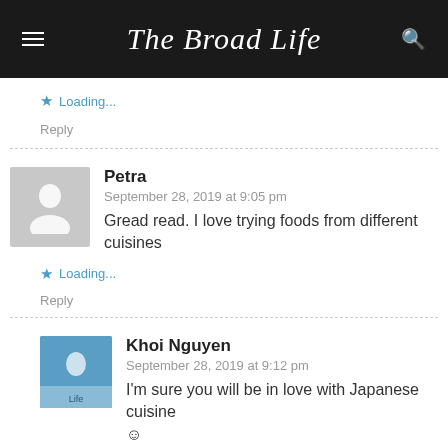The Broad Life
Loading...
Reply
Petra
September 28, 2019 at 9:05 pm
Gread read. I love trying foods from different cuisines
Loading...
Reply
Khoi Nguyen
September 28, 2019 at 9:12 pm
I'm sure you will be in love with Japanese cuisine ☺
Loading...